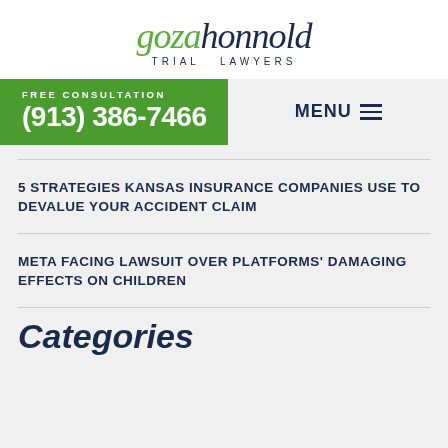[Figure (logo): Goza Honnold Trial Lawyers logo — 'goza' in green italic, 'honnold' in dark navy italic, 'TRIAL LAWYERS' in spaced caps below]
FREE CONSULTATION
(913) 386-7466
MENU
5 STRATEGIES KANSAS INSURANCE COMPANIES USE TO DEVALUE YOUR ACCIDENT CLAIM
META FACING LAWSUIT OVER PLATFORMS' DAMAGING EFFECTS ON CHILDREN
Categories